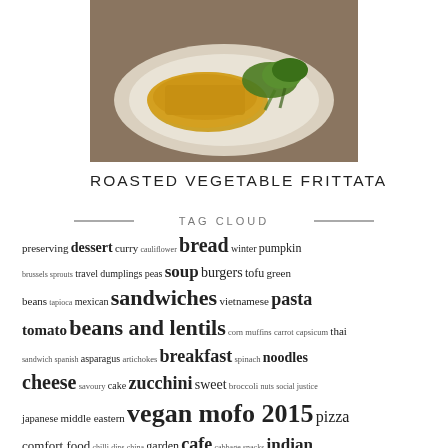[Figure (photo): Food photo showing a roasted vegetable frittata on a white plate with green vegetables, on a dark wooden surface]
ROASTED VEGETABLE FRITTATA
TAG CLOUD
preserving dessert curry cauliflower bread winter pumpkin brussels sprouts travel dumplings peas soup burgers tofu green beans tapioca mexican sandwiches vietnamese pasta tomato beans and lentils corn muffins carrot capsicum thai sandwich spanish asparagus artichokes breakfast spinach noodles cheese savoury cake zucchini sweet broccoli nuts social justice japanese middle eastern vegan mofo 2015 pizza comfort food chilli dips china garden cafe cabbage snacks indian vegetables yoghurt greens Coffee sweet potato butter potato salad